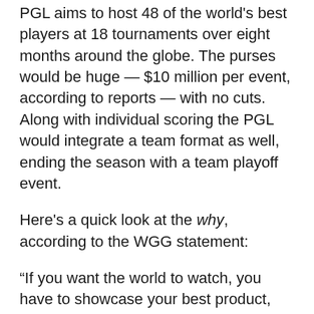PGL aims to host 48 of the world's best players at 18 tournaments over eight months around the globe. The purses would be huge — $10 million per event, according to reports — with no cuts. Along with individual scoring the PGL would integrate a team format as well, ending the season with a team playoff event.
Here's a quick look at the why, according to the WGG statement:
“If you want the world to watch, you have to showcase your best product, week-in-week-out. Golf doesn’t do that currently. … We believe we’ll succeed because the league is what fans, sponsors and broadcasters want — and the best players deserve. It will revitalise [sic] the sport for this and future generations.”